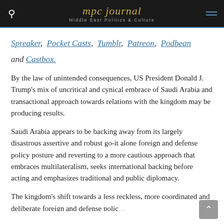mpc journal — Middle East Politics & Culture
Spreaker, Pocket Casts, Tumblr, Patreon, Podbean and Castbox.
By the law of unintended consequences, US President Donald J. Trump's mix of uncritical and cynical embrace of Saudi Arabia and transactional approach towards relations with the kingdom may be producing results.
Saudi Arabia appears to be backing away from its largely disastrous assertive and robust go-it alone foreign and defense policy posture and reverting to a more cautious approach that embraces multilateralism, seeks international backing before acting and emphasizes traditional and public diplomacy.
The kingdom's shift towards a less reckless, more coordinated and deliberate foreign and defense polic…